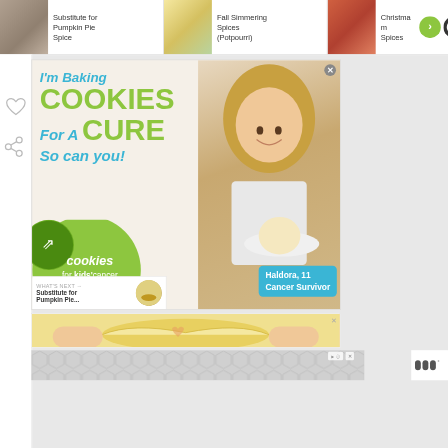[Figure (screenshot): Website navigation bar showing recipe thumbnails: 'Substitute for Pumpkin Pie Spice', 'Fall Simmering Spices (Potpourri)', 'Christmas Spices' with navigation arrow and search icon]
[Figure (photo): Advertisement for 'Cookies for Kids Cancer' charity. Features a young girl holding cookies with text: I'm Baking COOKIES For A CURE So can you! Haldora, 11 Cancer Survivor. Green circle logo for cookies for kids' cancer.]
[Figure (photo): Second advertisement banner showing hands kneading heart-shaped dough, with close button]
[Figure (other): Third advertisement area showing hexagonal/geometric grey pattern with ad indicator icon and Mondelez-style branding mark at right]